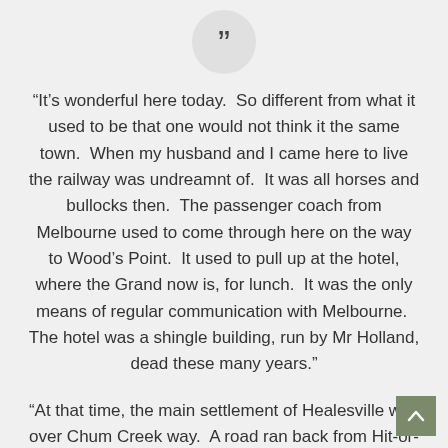[Figure (illustration): Large closing double quotation mark icon inside a light grey circle]
“It’s wonderful here today.  So different from what it used to be that one would not think it the same town.  When my husband and I came here to live the railway was undreamnt of.  It was all horses and bullocks then.  The passenger coach from Melbourne used to come through here on the way to Wood’s Point.  It used to pull up at the hotel, where the Grand now is, for lunch.  It was the only means of regular communication with Melbourne.  The hotel was a shingle building, run by Mr Holland, dead these many years.”
“At that time, the main settlement of Healesville was over Chum Creek way.  A road ran back from Hit-or-Miss bridge into the